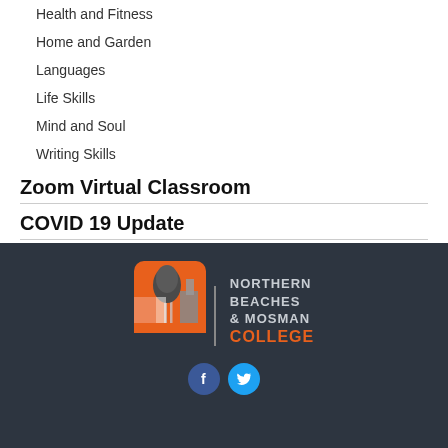Health and Fitness
Home and Garden
Languages
Life Skills
Mind and Soul
Writing Skills
Zoom Virtual Classroom
COVID 19 Update
[Figure (logo): Northern Beaches & Mosman College logo with tree and building silhouette on orange rounded square background, with college name text]
[Figure (logo): Facebook and Twitter social media icons (circular)]